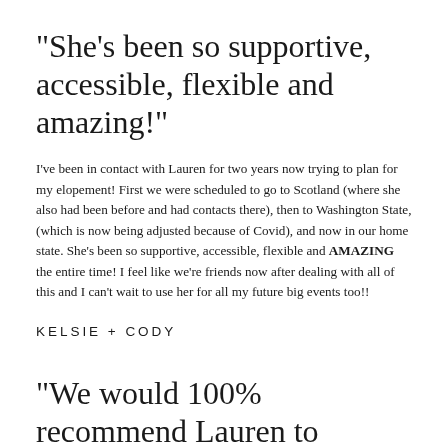"She's been so supportive, accessible, flexible and amazing!"
I've been in contact with Lauren for two years now trying to plan for my elopement! First we were scheduled to go to Scotland (where she also had been before and had contacts there), then to Washington State, (which is now being adjusted because of Covid), and now in our home state. She's been so supportive, accessible, flexible and AMAZING the entire time! I feel like we're friends now after dealing with all of this and I can't wait to use her for all my future big events too!!
KELSIE + CODY
"We would 100% recommend Lauren to